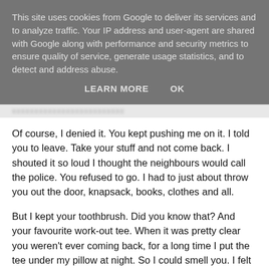This site uses cookies from Google to deliver its services and to analyze traffic. Your IP address and user-agent are shared with Google along with performance and security metrics to ensure quality of service, generate usage statistics, and to detect and address abuse.
LEARN MORE    OK
Of course, I denied it. You kept pushing me on it. I told you to leave. Take your stuff and not come back. I shouted it so loud I thought the neighbours would call the police. You refused to go. I had to just about throw you out the door, knapsack, books, clothes and all.
But I kept your toothbrush. Did you know that? And your favourite work-out tee. When it was pretty clear you weren't ever coming back, for a long time I put the tee under my pillow at night. So I could smell you. I felt safe when I had your tee close.